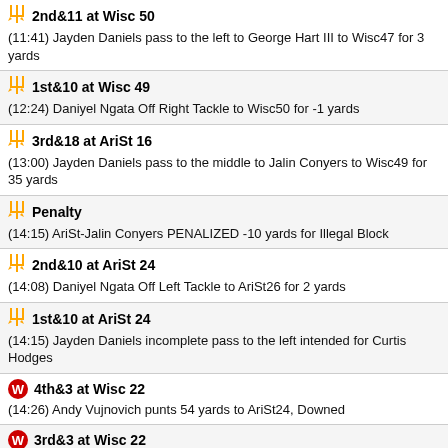2nd&11 at Wisc 50
(11:41) Jayden Daniels pass to the left to George Hart III to Wisc47 for 3 yards
1st&10 at Wisc 49
(12:24) Daniyel Ngata Off Right Tackle to Wisc50 for -1 yards
3rd&18 at AriSt 16
(13:00) Jayden Daniels pass to the middle to Jalin Conyers to Wisc49 for 35 yards
Penalty
(14:15) AriSt-Jalin Conyers PENALIZED -10 yards for Illegal Block
2nd&10 at AriSt 24
(14:08) Daniyel Ngata Off Left Tackle to AriSt26 for 2 yards
1st&10 at AriSt 24
(14:15) Jayden Daniels incomplete pass to the left intended for Curtis Hodges
4th&3 at Wisc 22
(14:26) Andy Vujnovich punts 54 yards to AriSt24, Downed
3rd&3 at Wisc 22
(15:00) Braelon Allen up the Middle to Wisc22 for no gain
3rd Quarter
2nd&7 at Wisc 18
(0:34) Braelon Allen Off Right Guard to Wisc22 for 4 yards